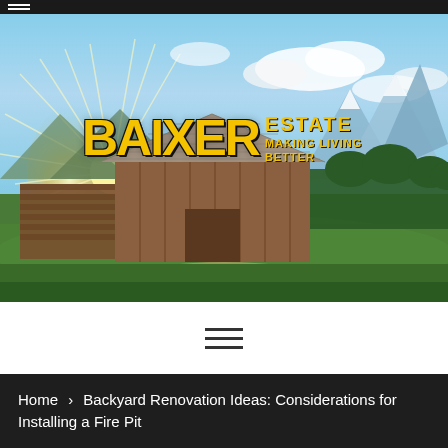[Figure (photo): Scenic landscape photo with old barn and mountains in background at sunrise/sunset, overlaid with Baixer Estate logo. Logo text reads 'BAIXER' in large yellow distressed font, with 'ESTATE' and 'MAKING LIVING BETTER' in yellow to the right.]
[Figure (other): Hamburger menu icon (three horizontal lines) centered in white bar below the hero image]
Home > Backyard Renovation Ideas: Considerations for Installing a Fire Pit